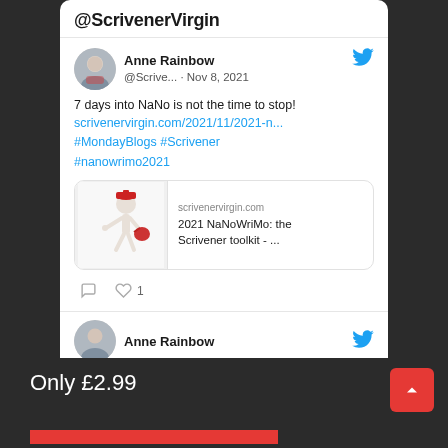@ScrivenerVirgin
Anne Rainbow
@Scrive... · Nov 8, 2021
7 days into NaNo is not the time to stop! scrivenervirgin.com/2021/11/2021-n... #MondayBlogs #Scrivener #nanowrimo2021
[Figure (screenshot): Link preview card showing scrivenervirgin.com with title '2021 NaNoWriMo: the Scrivener toolkit - ...' and a 3D figure with red cap and bag]
♡ 1
Anne Rainbow
Only £2.99